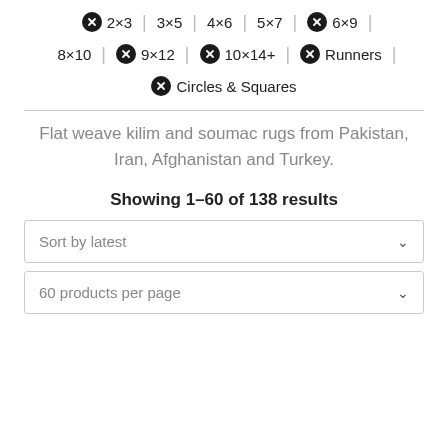✕ 2×3 | 3×5 | 4×6 | 5×7 | ✕ 6×9 | 8×10 | ✕ 9×12 | ✕ 10×14+ | ✕ Runners | ✕ Circles & Squares
Flat weave kilim and soumac rugs from Pakistan, Iran, Afghanistan and Turkey.
Showing 1–60 of 138 results
Sort by latest
60 products per page